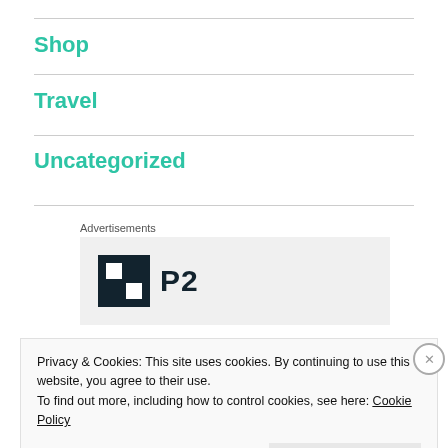Shop
Travel
Uncategorized
Advertisements
[Figure (logo): P2 logo — dark square icon with grid pattern beside bold text 'P2']
Privacy & Cookies: This site uses cookies. By continuing to use this website, you agree to their use.
To find out more, including how to control cookies, see here: Cookie Policy
Close and accept